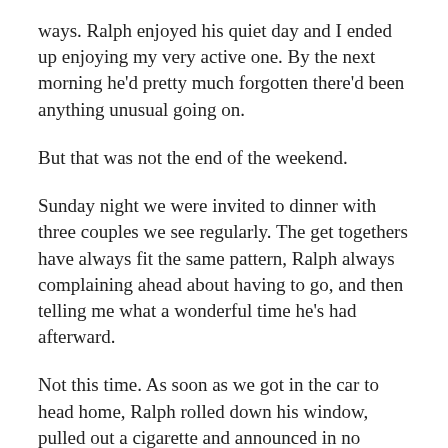ways. Ralph enjoyed his quiet day and I ended up enjoying my very active one. By the next morning he'd pretty much forgotten there'd been anything unusual going on.
But that was not the end of the weekend.
Sunday night we were invited to dinner with three couples we see regularly. The get togethers have always fit the same pattern, Ralph always complaining ahead about having to go, and then telling me what a wonderful time he's had afterward.
Not this time. As soon as we got in the car to head home, Ralph rolled down his window, pulled out a cigarette and announced in no uncertain terms, “I was ready to leave an hour ago.”
And the truth is, so was I. As much as I love and enjoy my friends, I was a tense wreck the whole time because I could